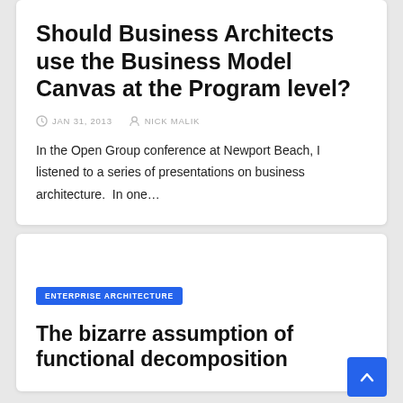Should Business Architects use the Business Model Canvas at the Program level?
JAN 31, 2013   NICK MALIK
In the Open Group conference at Newport Beach, I listened to a series of presentations on business architecture.  In one…
ENTERPRISE ARCHITECTURE
The bizarre assumption of functional decomposition